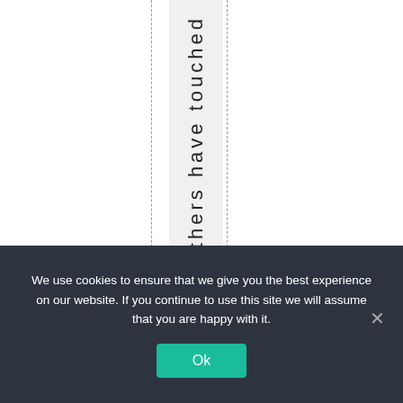others have touched
We use cookies to ensure that we give you the best experience on our website. If you continue to use this site we will assume that you are happy with it.